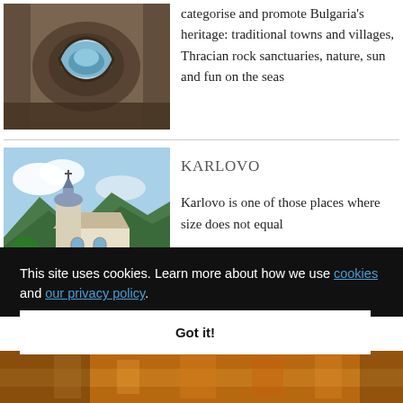[Figure (photo): Cave opening or rock formation with a hole revealing blue sky/water, brown rocky texture]
categorise and promote Bulgaria's heritage: traditional towns and villages, Thracian rock sanctuaries, nature, sun and fun on the seas
[Figure (photo): Church with bell tower and dome, mountains and blue sky in the background, trees in front — Karlovo, Bulgaria]
KARLOVO
Karlovo is one of those places where size does not equal
This site uses cookies. Learn more about how we use cookies and our privacy policy.
Got it!
[Figure (photo): Bottom strip showing a warm-toned image, possibly traditional Bulgarian scene or festival]